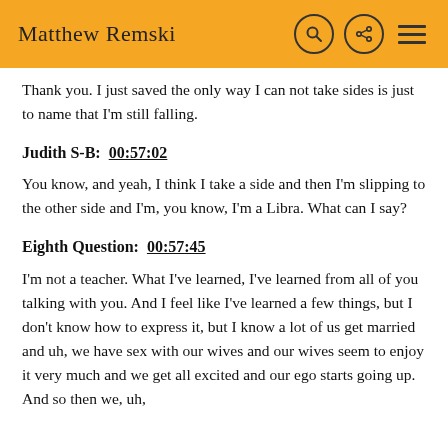Matthew Remski
Thank you. I just saved the only way I can not take sides is just to name that I'm still falling.
Judith S-B:  00:57:02
You know, and yeah, I think I take a side and then I'm slipping to the other side and I'm, you know, I'm a Libra. What can I say?
Eighth Question:  00:57:45
I'm not a teacher. What I've learned, I've learned from all of you talking with you. And I feel like I've learned a few things, but I don't know how to express it, but I know a lot of us get married and uh, we have sex with our wives and our wives seem to enjoy it very much and we get all excited and our ego starts going up. And so then we, uh,